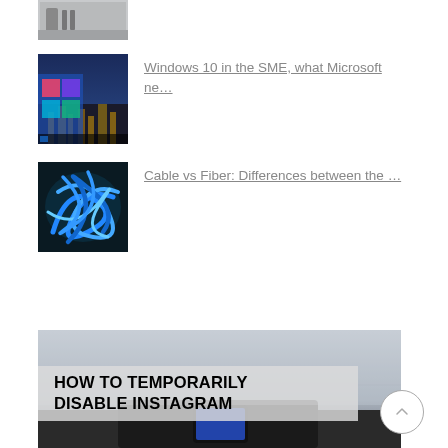[Figure (photo): Partial view of a laptop/device port area (top, cropped)]
[Figure (photo): Windows 10 desktop on a screen with city background]
Windows 10 in the SME, what Microsoft ne…
[Figure (photo): Blue fiber optic cables tangled together]
Cable vs Fiber: Differences between the …
[Figure (photo): Feature image with text overlay: HOW TO TEMPORARILY DISABLE INSTAGRAM, showing a phone on a car dashboard]